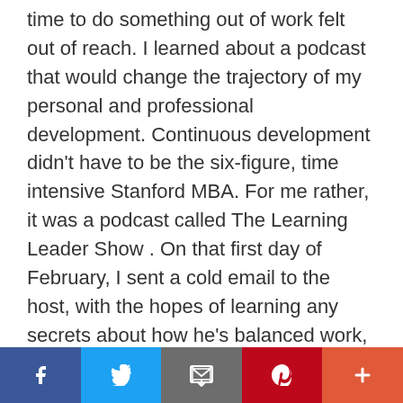time to do something out of work felt out of reach. I learned about a podcast that would change the trajectory of my personal and professional development. Continuous development didn't have to be the six-figure, time intensive Stanford MBA. For me rather, it was a podcast called The Learning Leader Show . On that first day of February, I sent a cold email to the host, with the hopes of learning any secrets about how he's balanced work, his podcast, marriage, and raising five children. Did he sleep like normal people? Did he have several nannies? Fast forward six years and five hundred interviews with some of the most world-renowned leaders and I've been fortunate to learn many
[Figure (infographic): Social sharing bar with five buttons: Facebook (dark blue, f icon), Twitter (light blue, bird icon), Email (gray, envelope icon), Pinterest (red, P icon), More (orange-red, plus icon)]